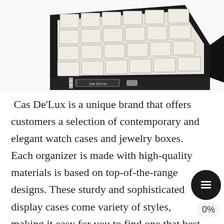[Figure (photo): A luxury watch display case (Cas De'Lux brand) shown open from above, with black leather exterior and cream/ivory padded interior compartments arranged in a 6x4 grid. A silver logo plate with 'Cas De'Lux' text is visible on the front latch.]
Cas De'Lux is a unique brand that offers customers a selection of contemporary and elegant watch cases and jewelry boxes. Each organizer is made with high-quality materials is based on top-of-the-range designs. These sturdy and sophisticated display cases come variety of styles, making it easy for you to find one that best suits your needs.